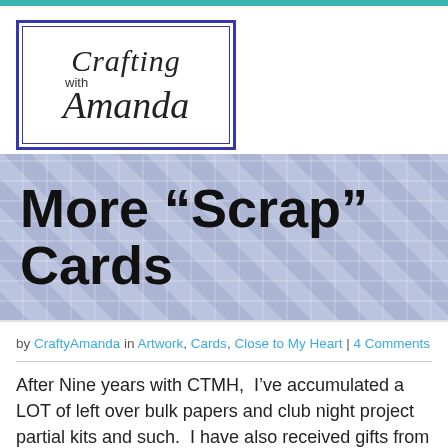[Figure (logo): Crafting with Amanda logo — cursive script text inside a blue double-bordered rectangle]
More “Scrap” Cards
by CraftyAmanda in Artwork, Cards, Close to My Heart | 4 Comments
After Nine years with CTMH,  I’ve accumulated a LOT of left over bulk papers and club night project partial kits and such.  I have also received gifts from friends and family of non-CTMH product.  (Shocking I know!)  So,  in my “de-clutter life”